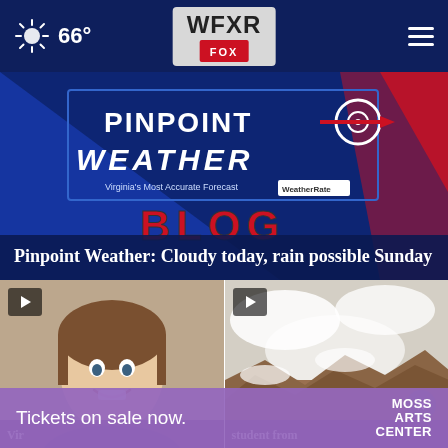66° WFXR FOX
[Figure (screenshot): WFXR Pinpoint Weather Blog promotional image with 'PINPOINT WEATHER - Virginia's Most Accurate Forecast' branding and 'BLOG' text on blue background]
Pinpoint Weather: Cloudy today, rain possible Sunday
[Figure (photo): Thumbnail of smiling woman with play button overlay]
[Figure (photo): Thumbnail of rocky snowy terrain with play button overlay and close button]
Vir student from
Tickets on sale now.
MOSS ARTS CENTER